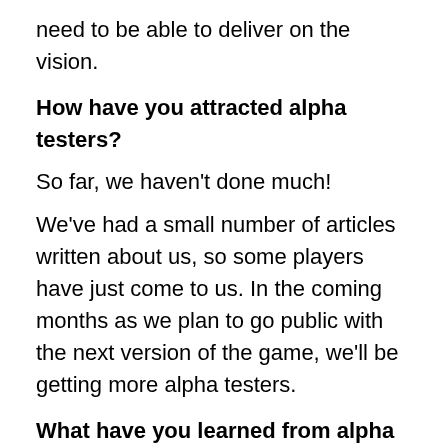need to be able to deliver on the vision.
How have you attracted alpha testers?
So far, we haven't done much!
We've had a small number of articles written about us, so some players have just come to us. In the coming months as we plan to go public with the next version of the game, we'll be getting more alpha testers.
What have you learned from alpha testing from a product standpoint?
This would probably get too deep in the mechanics of the game to go into here. I'll give some general learnings though. Grindy gameplay works to increase retention of hardcore users but isn't super fun. Some of the same mechanics that work in desktop gaming...